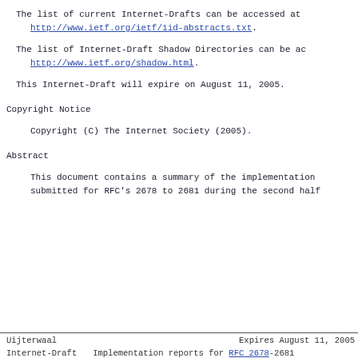The list of current Internet-Drafts can be accessed at http://www.ietf.org/ietf/1id-abstracts.txt.
The list of Internet-Draft Shadow Directories can be accessed at http://www.ietf.org/shadow.html.
This Internet-Draft will expire on August 11, 2005.
Copyright Notice
Copyright (C) The Internet Society (2005).
Abstract
This document contains a summary of the implementation reports submitted for RFC's 2678 to 2681 during the second half
Uijterwaal                    Expires August 11, 2005
Internet-Draft    Implementation reports for RFC 2678-2681